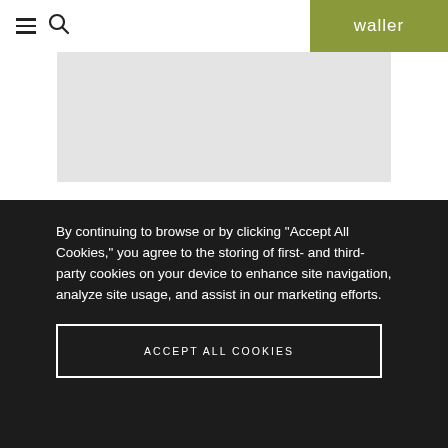waller
[Figure (other): Gray placeholder image area]
By continuing to browse or by clicking "Accept All Cookies," you agree to the storing of first- and third-party cookies on your device to enhance site navigation, analyze site usage, and assist in our marketing efforts.
ACCEPT ALL COOKIES